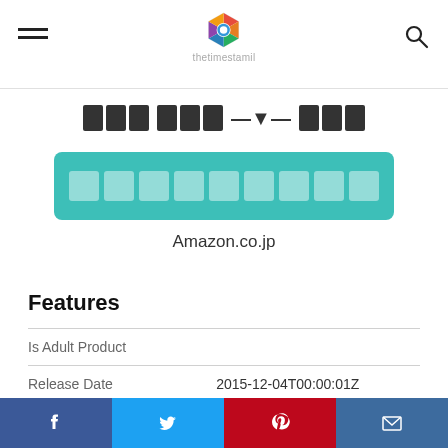thetimestamil (logo with hamburger menu and search icon)
[Redacted Japanese title text]
[Figure (other): Teal/green buy button with redacted Japanese text]
Amazon.co.jp
Features
|  |  |
| --- | --- |
| Is Adult Product |  |
| Release Date | 2015-12-04T00:00:01Z |
| Language | □□□ |
| Format | □ |
Facebook | Twitter | Pinterest | Email social share bar